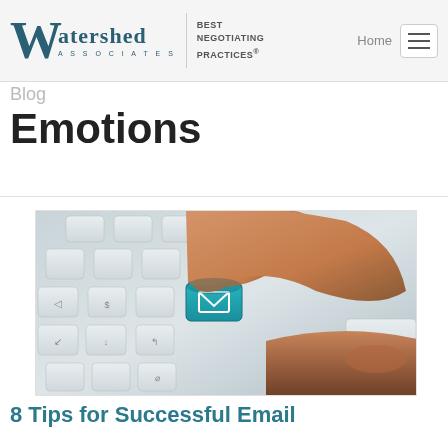Watershed Associates — BEST NEGOTIATING PRACTICES® — Home
Emotions
[Figure (photo): Close-up photo of a finger pressing a keyboard key with a teal/cyan email envelope icon on it, surrounded by other light grey keyboard keys]
8 Tips for Successful Email